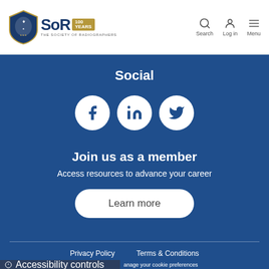[Figure (logo): Society of Radiographers logo with shield crest and SoR 100 Years text]
Search  Log in  Menu
Social
[Figure (infographic): Three social media icons: Facebook, LinkedIn, Twitter on white circles]
Join us as a member
Access resources to advance your career
Learn more
Privacy Policy   Terms & Conditions
Accessibility controls
anage your cookie preferences